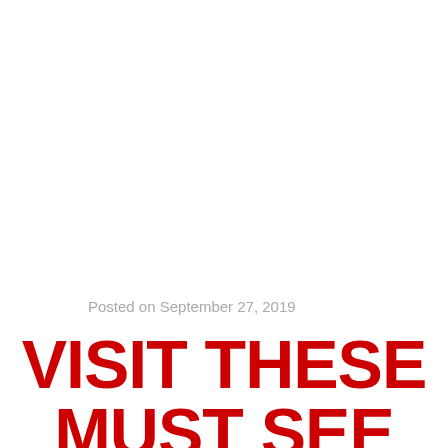Posted on September 27, 2019
VISIT THESE MUST SEE SITES ON THIS